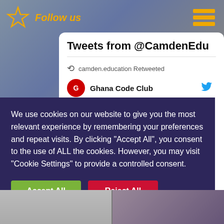[Figure (screenshot): Website screenshot showing a Twitter feed widget for @CamdenEdu with a cookie consent overlay on a dark blue/grey background with sports stadium imagery]
Follow us
Tweets from @CamdenEdu
camden.education Retweeted
Ghana Code Club
We use cookies on our website to give you the most relevant experience by remembering your preferences and repeat visits. By clicking "Accept All", you consent to the use of ALL the cookies. However, you may visit "Cookie Settings" to provide a controlled consent.
Accept All
Reject All
Cookie Settings
Read More